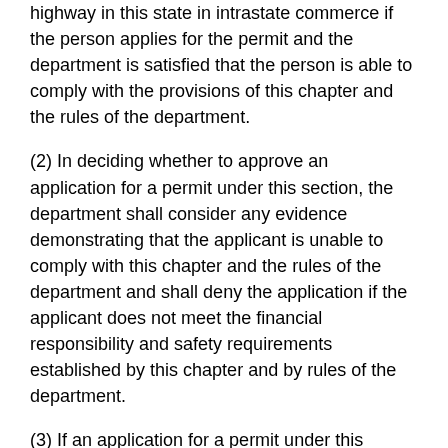highway in this state in intrastate commerce if the person applies for the permit and the department is satisfied that the person is able to comply with the provisions of this chapter and the rules of the department.
(2) In deciding whether to approve an application for a permit under this section, the department shall consider any evidence demonstrating that the applicant is unable to comply with this chapter and the rules of the department and shall deny the application if the applicant does not meet the financial responsibility and safety requirements established by this chapter and by rules of the department.
(3) If an application for a permit under this section is denied, the department shall notify the applicant of the reasons for denial. The applicant is entitled to a hearing if written request for a hearing is made within 15 days of the notification of denial.
(4) A permit granted under this section is not transferable. The department shall determine by rule what constitutes transfer of a permit.
(5) A permit issued under this section may be suspended or revoked as provided in this chapter. Grounds for suspension or revocation include, but are not limited to, failure to maintain